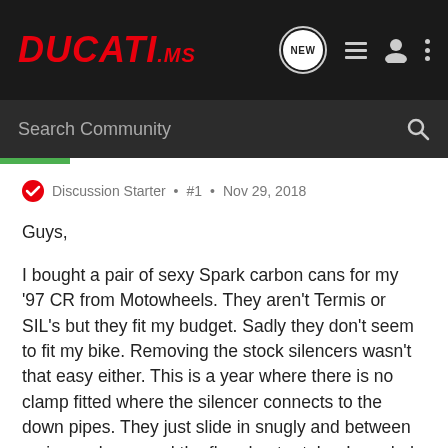[Figure (logo): DUCATI.ms logo in red italic bold on dark navbar background]
Search Community
Discussion Starter • #1 • Nov 29, 2018
Guys,

I bought a pair of sexy Spark carbon cans for my '97 CR from Motowheels. They aren't Termis or SIL's but they fit my budget. Sadly they don't seem to fit my bike. Removing the stock silencers wasn't that easy either. This is a year where there is no clamp fitted where the silencer connects to the down pipes. They just slide in snugly and between an inner sleeve and the flared outer tube. I needed a pipe wrench to remove one of them but finally got them both off. However, the inside circumference of the new silencers is just slightly too small to fit over the inner sleeve. Is this common? Is there a technique or trick? I "lubed" pipes with dish soap but still couldn't get more